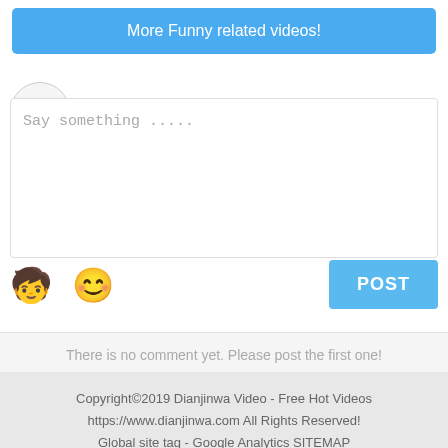More Funny related videos!
Login
Say something .....
POST
There is no comment yet. Please post the first one!
Copyright©2019 Dianjinwa Video - Free Hot Videos https://www.dianjinwa.com All Rights Reserved! Global site tag - Google Analytics SITEMAP